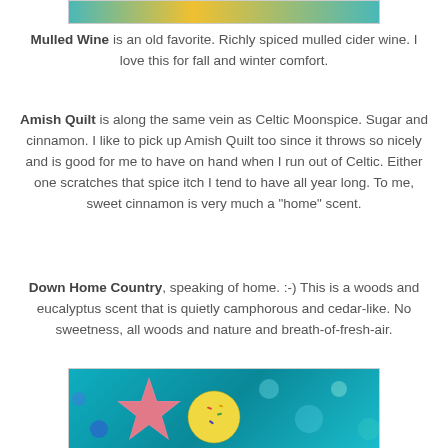[Figure (photo): Top portion of a colorful photo, partially cropped, showing teal and yellow tones]
Mulled Wine is an old favorite. Richly spiced mulled cider wine. I love this for fall and winter comfort.
Amish Quilt is along the same vein as Celtic Moonspice. Sugar and cinnamon. I like to pick up Amish Quilt too since it throws so nicely and is good for me to have on hand when I run out of Celtic. Either one scratches that spice itch I tend to have all year long. To me, sweet cinnamon is very much a "home" scent.
Down Home Country, speaking of home. :-) This is a woods and eucalyptus scent that is quietly camphorous and cedar-like. No sweetness, all woods and nature and breath-of-fresh-air.
[Figure (photo): Photo of colorful star-shaped and round soaps (pink star, yellow round with sprinkles) against a teal bokeh background]